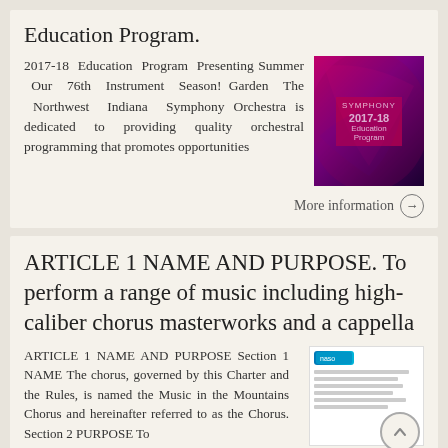Education Program.
2017-18 Education Program Presenting Summer Our 76th Instrument Season! Garden The Northwest Indiana Symphony Orchestra is dedicated to providing quality orchestral programming that promotes opportunities
[Figure (photo): Thumbnail image of 2017-18 Education Program booklet with pink/purple floral cover and white text]
More information →
ARTICLE 1 NAME AND PURPOSE. To perform a range of music including high-caliber chorus masterworks and a cappella
ARTICLE 1 NAME AND PURPOSE Section 1 NAME The chorus, governed by this Charter and the Rules, is named the Music in the Mountains Chorus and hereinafter referred to as the Chorus. Section 2 PURPOSE To
[Figure (screenshot): Thumbnail image of a document page with logo and text lines]